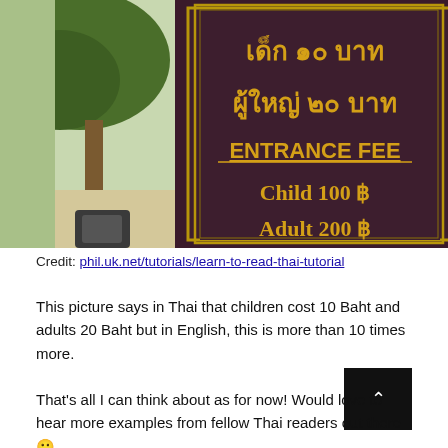[Figure (photo): Photo of a Thai entrance fee sign with dark brown background and gold text. Thai text reads: เด็ก ๑๐ บาท (child 10 Baht), ผู้ใหญ่ ๒๐ บาท (adult 20 Baht), then ENTRANCE FEE in English underlined, Child 100 ฿, Adult 200 ฿. Trees and outdoor pathway visible on sides.]
Credit: phil.uk.net/tutorials/learn-to-read-thai-tutorial
This picture says in Thai that children cost 10 Baht and adults 20 Baht but in English, this is more than 10 times more.
That's all I can think about as for now! Would love to hear more examples from fellow Thai readers out there 🙂